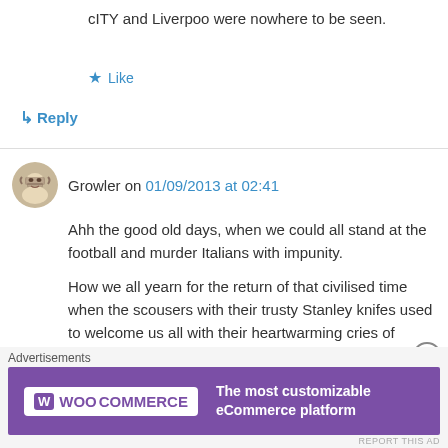cITY and Liverpoo were nowhere to be seen.
Like
Reply
Growler on 01/09/2013 at 02:41
Ahh the good old days, when we could all stand at the football and murder Italians with impunity.
How we all yearn for the return of that civilised time when the scousers with their trusty Stanley knifes used to welcome us all with their heartwarming cries of ‘Munich’ and references to
Advertisements
[Figure (logo): WooCommerce advertisement banner with text: The most customizable eCommerce platform]